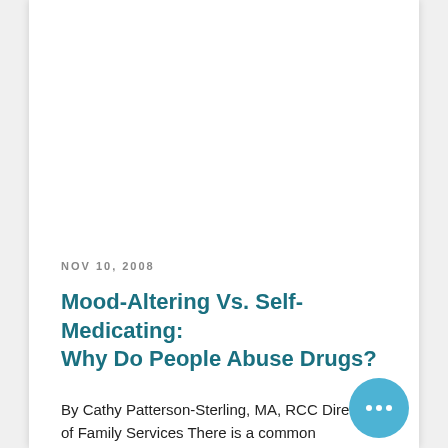NOV 10, 2008
Mood-Altering Vs. Self-Medicating: Why Do People Abuse Drugs?
By Cathy Patterson-Sterling, MA, RCC Director of Family Services There is a common assumption that people who abuse alcohol,